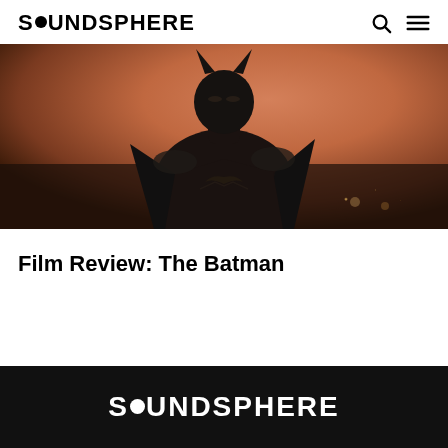SOUNDSPHERE
[Figure (photo): A figure dressed in the Batman costume with dark armor and cape, photographed against an orange/amber dusk sky with blurred city lights in the background.]
Film Review: The Batman
SOUNDSPHERE